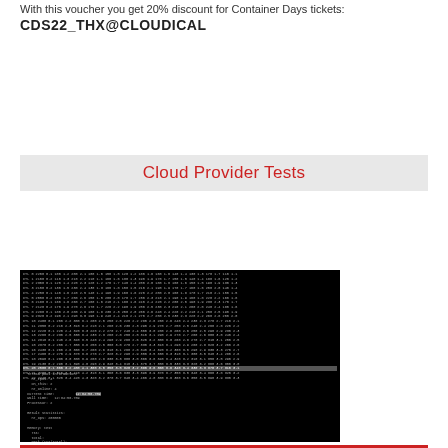With this voucher you get 20% discount for Container Days tickets:
CDS22_THX@CLOUDICAL
Cloud Provider Tests
[Figure (screenshot): Terminal/console output screenshot on black background showing rows of text data and a highlighted selection row, with system statistics at the bottom.]